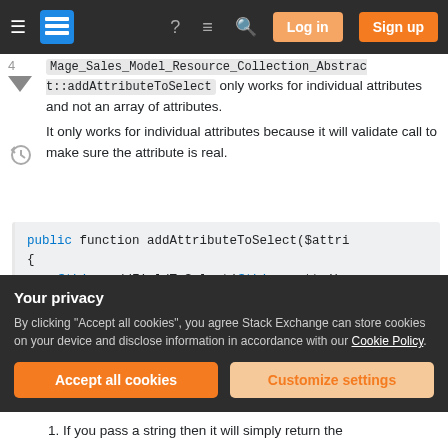Stack Exchange navigation bar with Log in and Sign up buttons
Mage_Sales_Model_Resource_Collection_Abstract::addAttributeToSelect only works for individual attributes and not an array of attributes.
It only works for individual attributes because it will validate call to make sure the attribute is real.
[Figure (screenshot): Code block showing PHP function: public function addAttributeToSelect($attri { $this->addFieldToSelect($this->_attribu return $this; }]
Your privacy
By clicking "Accept all cookies", you agree Stack Exchange can store cookies on your device and disclose information in accordance with our Cookie Policy.
Accept all cookies
Customize settings
1. If you pass a string then it will simply return the